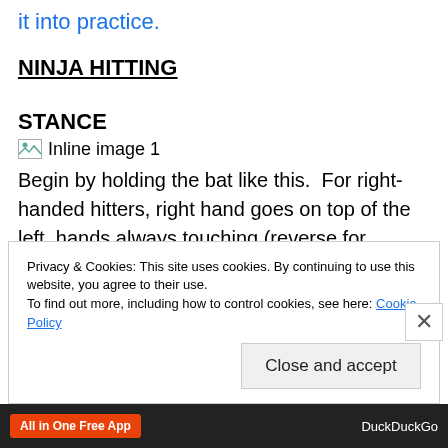it into practice.
NINJA HITTING
STANCE
[Figure (illustration): Inline image 1 placeholder icon with label 'Inline image 1']
Begin by holding the bat like this.  For right-handed hitters, right hand goes on top of the left, hands always touching (reverse for Lefties).  Notice how the elbows are up rather than drooping by the sides.  While eventually the front elbow will (and should) drop, this allows them to approach the plate in a balanced position (and sends the...
Privacy & Cookies: This site uses cookies. By continuing to use this website, you agree to their use.
To find out more, including how to control cookies, see here: Cookie Policy
Close and accept
All in One Free App   DuckDuckGo